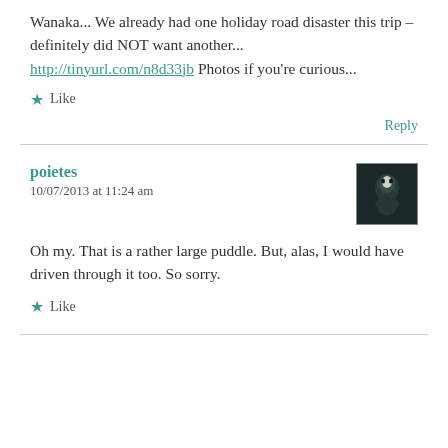Wanaka... We already had one holiday road disaster this trip – definitely did NOT want another... http://tinyurl.com/n8d33jb Photos if you're curious...
★ Like
Reply
poietes
10/07/2013 at 11:24 am
Oh my. That is a rather large puddle. But, alas, I would have driven through it too. So sorry.
★ Like